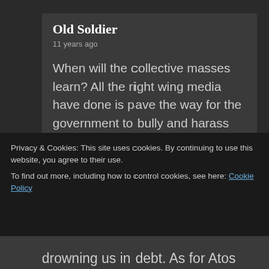Old Soldier
11 years ago
When will the collective masses learn? All the right wing media have done is pave the way for the government to bully and harass anyone vulnerable. It has opened the floodgates for the people in the
Privacy & Cookies: This site uses cookies. By continuing to use this website, you agree to their use.
To find out more, including how to control cookies, see here: Cookie Policy
Close and accept
drowning us in debt. As for Atos